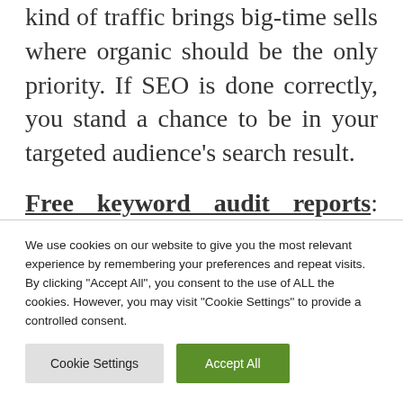kind of traffic brings big-time sells where organic should be the only priority. If SEO is done correctly, you stand a chance to be in your targeted audience's search result.
Free keyword audit reports: Every single thing on Google has some rank! The important part is picking out those things according to your business niche that gives a
We use cookies on our website to give you the most relevant experience by remembering your preferences and repeat visits. By clicking "Accept All", you consent to the use of ALL the cookies. However, you may visit "Cookie Settings" to provide a controlled consent.